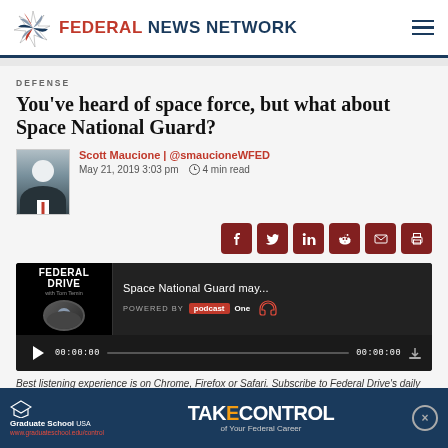FEDERAL NEWS NETWORK
DEFENSE
You've heard of space force, but what about Space National Guard?
Scott Maucione | @smaucioneWFED
May 21, 2019 3:03 pm   4 min read
[Figure (screenshot): Federal Drive podcast player showing 'Space National Guard may...' episode, with play button, 00:00:00 timecode, progress bar, Powered by PodcastOne branding]
Best listening experience is on Chrome, Firefox or Safari. Subscribe to Federal Drive's daily audio interviews on Apple Podcasts or PodcastOne.
[Figure (infographic): Advertisement banner for Graduate School USA - Take Control of Your Federal Career, with red X close button]